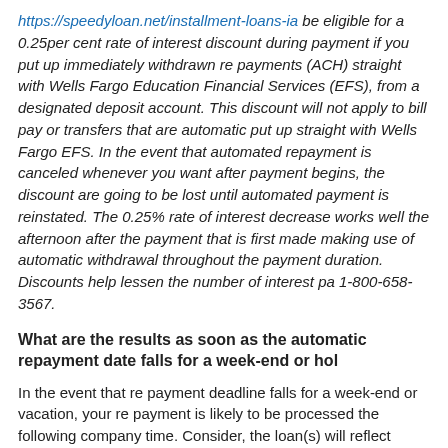https://speedyloan.net/installment-loans-ia be eligible for a 0.25per cent rate of interest discount during payment if you put up immediately withdrawn re payments (ACH) straight with Wells Fargo Education Financial Services (EFS), from a designated deposit account. This discount will not apply to bill pay or transfers that are automatic put up straight with Wells Fargo EFS. In the event that automated repayment is canceled whenever you want after payment begins, the discount are going to be lost until automated payment is reinstated. The 0.25% rate of interest decrease works well the afternoon after the payment that is first made making use of automatic withdrawal throughout the payment duration. Discounts help lessen the number of interest pa 1-800-658-3567.
What are the results as soon as the automatic repayment date falls for a week-end or hol
In the event that re payment deadline falls for a week-end or vacation, your re payment is likely to be processed the following company time. Consider, the loan(s) will reflect previous status that is due the automated re payment has published to your loan(s). The loan(s) will not be reported to the consumer reporting agencies as past due, and no additional interest will accrue because your payment will be processed as if it was received on the due date in these situations.